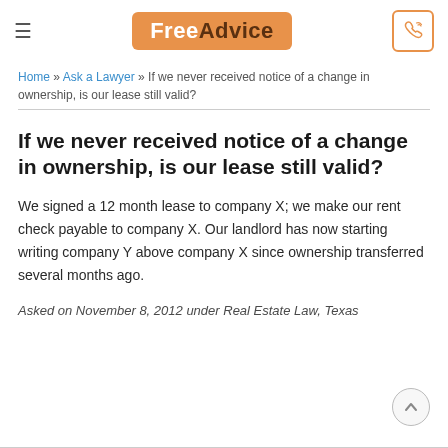FreeAdvice
Home » Ask a Lawyer » If we never received notice of a change in ownership, is our lease still valid?
If we never received notice of a change in ownership, is our lease still valid?
We signed a 12 month lease to company X; we make our rent check payable to company X. Our landlord has now starting writing company Y above company X since ownership transferred several months ago.
Asked on November 8, 2012 under Real Estate Law, Texas